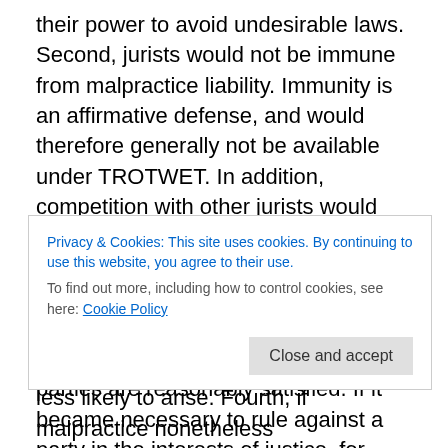their power to avoid undesirable laws. Second, jurists would not be immune from malpractice liability. Immunity is an affirmative defense, and would therefore generally not be available under TROTWET. In addition, competition with other jurists would tend to lessen availability of limits on malpractice liability under positive laws, which could otherwise apply. Therefore, jurists would take pains to as much as possible see that all parties are reasonably satisfied. If it became necessary to rule against a party in the interests of justice, for example by excluding evidence that a party wished to bring in, the jurist would be more
Privacy & Cookies: This site uses cookies. By continuing to use this website, you agree to their use.
To find out more, including how to control cookies, see here: Cookie Policy
Close and accept
less likely to arise. Fourth, if malpractice nonetheless